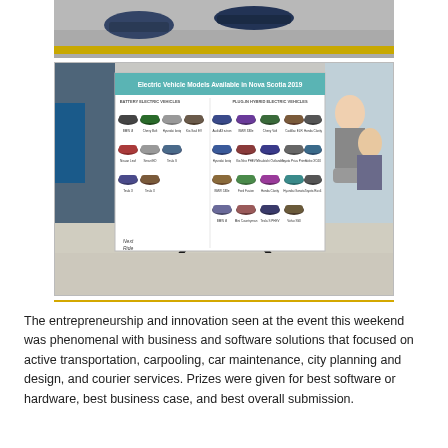[Figure (photo): Partial photo at top showing cars on a surface with a yellow line visible at the bottom edge]
[Figure (photo): Photo of a display board on an easel showing 'Electric Vehicle Models Available in Nova Scotia 2019' with grid of car photos and labels, set in a room with people sitting in background]
The entrepreneurship and innovation seen at the event this weekend was phenomenal with business and software solutions that focused on active transportation, carpooling, car maintenance, city planning and design, and courier services. Prizes were given for best software or hardware, best business case, and best overall submission.